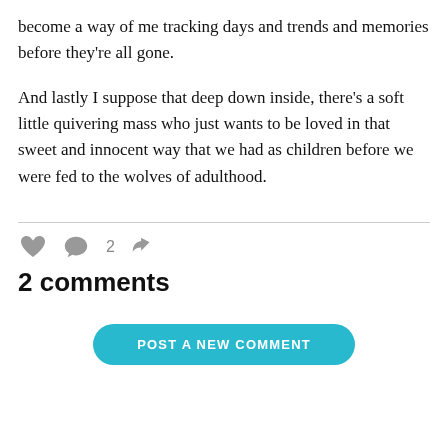become a way of me tracking days and trends and memories before they're all gone.
And lastly I suppose that deep down inside, there's a soft little quivering mass who just wants to be loved in that sweet and innocent way that we had as children before we were fed to the wolves of adulthood.
[Figure (infographic): Social interaction icons row: heart icon (like), speech bubble icon with number 2 (comments), share/forward icon]
2 comments
POST A NEW COMMENT